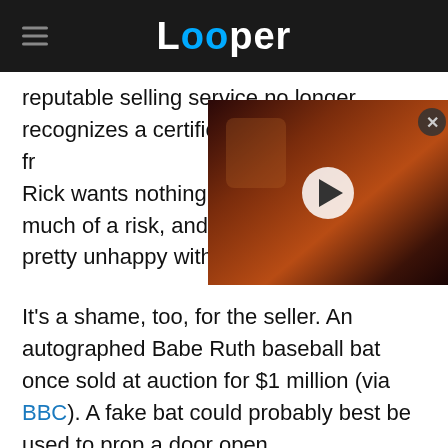Looper
reputable selling service no longer recognizes a certificate of authenticity from Rick wants nothing to do wi much of a risk, and the selle pretty unhappy with the new knowledge.
[Figure (screenshot): Video thumbnail showing a man with reddish-orange dramatic lighting and a play button overlay, with a close (X) button in the top right corner.]
It's a shame, too, for the seller. An autographed Babe Ruth baseball bat once sold at auction for $1 million (via BBC). A fake bat could probably best be used to prop a door open.